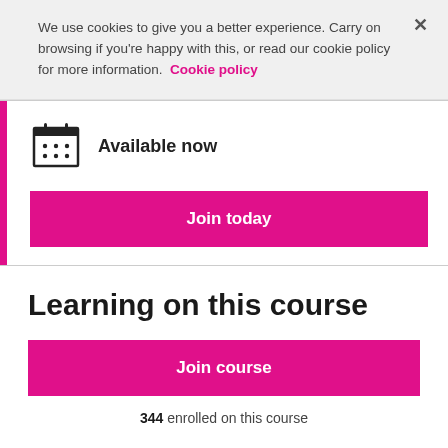We use cookies to give you a better experience. Carry on browsing if you're happy with this, or read our cookie policy for more information. Cookie policy
[Figure (illustration): Calendar icon with dots representing days]
Available now
Join today
Learning on this course
Join course
344 enrolled on this course